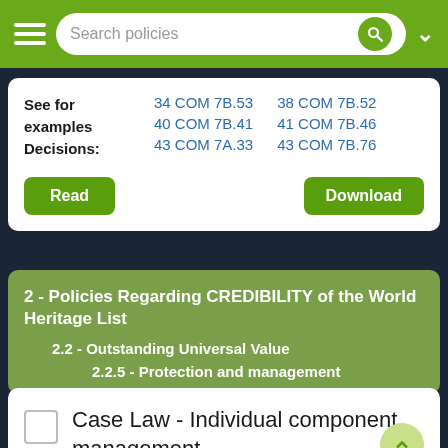Search policies
|  | Col1 | Col2 |
| --- | --- | --- |
| See for examples Decisions: | 34 COM 7B.53 | 38 COM 7B.52 |
|  | 40 COM 7B.41 | 41 COM 7B.46 |
|  | 43 COM 7A.33 | 43 COM 7B.76 |
Read | Download
2 - Policies Regarding CREDIBILITY of the World Heritage List
2.2 - Outstanding Universal Value
2.2.5 - Protection and management
Case Law - Individual component management